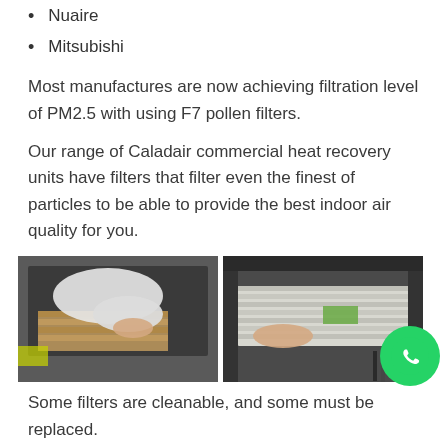Nuaire
Mitsubishi
Most manufactures are now achieving filtration level of PM2.5 with using F7 pollen filters.
Our range of Caladair commercial heat recovery units have filters that filter even the finest of particles to be able to provide the best indoor air quality for you.
[Figure (photo): Two photos side by side showing hands inserting or removing air filters from HVAC/ventilation units.]
Some filters are cleanable, and some must be replaced. For your ventilation system to be running to the best ability by providing the best indoor air quality, filters must